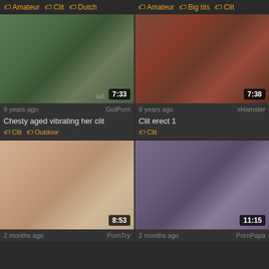Amateur  Clit  Dutch
Amateur  Big tits  Clit
[Figure (screenshot): Video thumbnail showing woman driving car, duration 7:33, source GotPorn]
[Figure (screenshot): Video thumbnail, duration 7:38, source xHamster]
9 years ago  GotPorn
Chesty aged vibrating her clit
Clit  Outdoor
9 years ago  xHamster
Clit erect 1
Clit
[Figure (screenshot): Video thumbnail, duration 8:53, source PornTry]
[Figure (screenshot): Video thumbnail, duration 11:15, source PornPapa]
2 months ago  PornTry
2 months ago  PornPapa